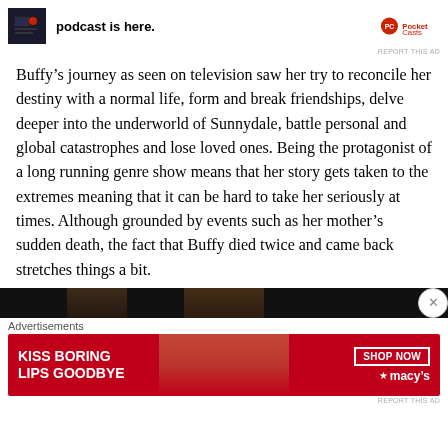[Figure (screenshot): Top advertisement banner for podcast app with dark screenshot image on left, bold text 'podcast is here.' in center, and Pocket Casts logo on right]
REPORT THIS AD
Buffy's journey as seen on television saw her try to reconcile her destiny with a normal life, form and break friendships, delve deeper into the underworld of Sunnydale, battle personal and global catastrophes and lose loved ones. Being the protagonist of a long running genre show means that her story gets taken to the extremes meaning that it can be hard to take her seriously at times. Although grounded by events such as her mother's sudden death, the fact that Buffy died twice and came back stretches things a bit.
[Figure (photo): Partially visible dark image at bottom of page, appears to show faces against dark background, with circular X close button on right]
Advertisements
[Figure (screenshot): Macy's advertisement banner with red background, bold white text 'KISS BORING LIPS GOODBYE', 'SHOP NOW' button with border, Macy's star logo, and face photo in background]
REPORT THIS AD